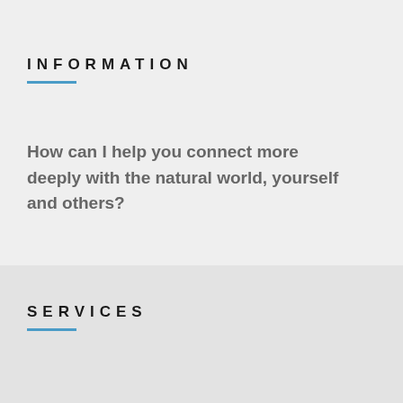INFORMATION
How can I help you connect more deeply with the natural world, yourself and others?
SERVICES